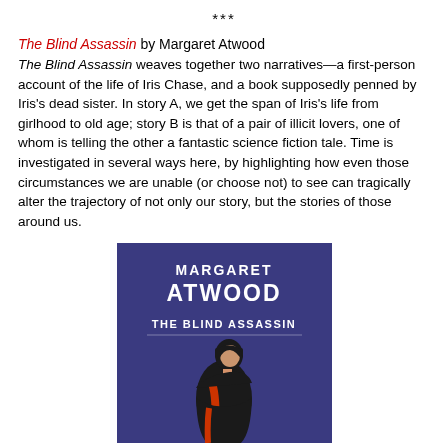***
The Blind Assassin by Margaret Atwood
The Blind Assassin weaves together two narratives—a first-person account of the life of Iris Chase, and a book supposedly penned by Iris's dead sister. In story A, we get the span of Iris's life from girlhood to old age; story B is that of a pair of illicit lovers, one of whom is telling the other a fantastic science fiction tale. Time is investigated in several ways here, by highlighting how even those circumstances we are unable (or choose not) to see can tragically alter the trajectory of not only our story, but the stories of those around us.
[Figure (illustration): Book cover of The Blind Assassin by Margaret Atwood. Dark blue/purple background with 'MARGARET ATWOOD' in white at top, 'THE BLIND ASSASSIN' in white below, and a silhouette of a woman in a black and red dress at the bottom.]